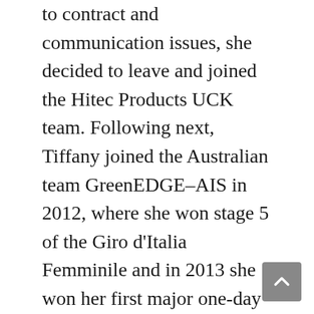to contract and communication issues, she decided to leave and joined the Hitec Products UCK team. Following next, Tiffany joined the Australian team GreenEDGE–AIS in 2012, where she won stage 5 of the Giro d'Italia Femminile and in 2013 she won her first major one-day event at Omloop Het Nieuwsblad. In 2014, she joined Specialized–lululemon and finished top three in the Tour Cycliste Féminin International de l'Ardèche and represented Australia at the Commonwealth Games. In the Giro d'Italia Femminile, she finished third in stage 1. In 2016, she joined Canyon–SRAM and finished third at Omloop Het Nieuwsblad and then went on to win stage four of the Giro d'Italia Femminile. In 2016, she won stage one of the Thüringen Rundfahrt der Frauen.